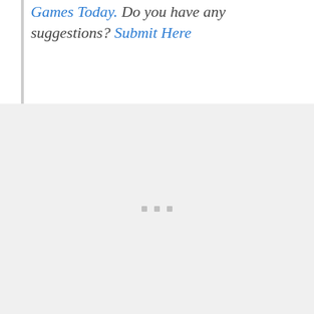Games Today. Do you have any suggestions? Submit Here
[Figure (other): A light gray loading placeholder box with three small gray square dots centered near the bottom, indicating content is loading.]